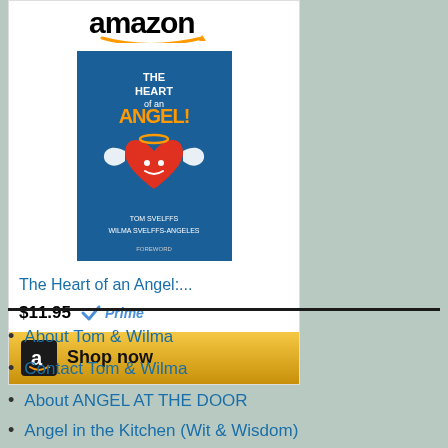[Figure (screenshot): Amazon product widget showing 'The Heart of an Angel' book for $11.95 with Prime badge and Shop now button]
About Tom & Wilma
Contact Tom & Wilma
About ANGEL AT THE DOOR
Angel in the Kitchen (Wit & Wisdom)
Boot Camp for Creators & Dreamers